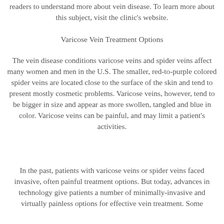readers to understand more about vein disease. To learn more about this subject, visit the clinic's website.
Varicose Vein Treatment Options
The vein disease conditions varicose veins and spider veins affect many women and men in the U.S. The smaller, red-to-purple colored spider veins are located close to the surface of the skin and tend to present mostly cosmetic problems. Varicose veins, however, tend to be bigger in size and appear as more swollen, tangled and blue in color. Varicose veins can be painful, and may limit a patient's activities.
In the past, patients with varicose veins or spider veins faced invasive, often painful treatment options. But today, advances in technology give patients a number of minimally-invasive and virtually painless options for effective vein treatment. Some